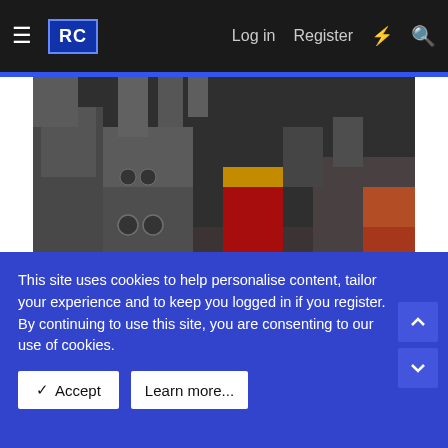RC [logo] | Log in | Register
[Figure (photo): Industrial warehouse interior with large grey metal boxes/enclosures with circular ports, stacked and arranged on a concrete floor. A red and yellow cart is visible in the background along with other warehouse equipment.]
and Tubs ready for crating 😊
[Figure (photo): Industrial warehouse interior showing what appears to be metal tubs or containers ready for crating, with bright overhead lighting.]
This site uses cookies to help personalise content, tailor your experience and to keep you logged in if you register.
By continuing to use this site, you are consenting to our use of cookies.
✔ Accept   Learn more...